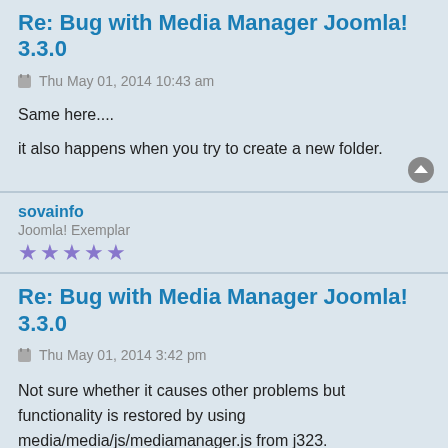Re: Bug with Media Manager Joomla! 3.3.0
Thu May 01, 2014 10:43 am
Same here....
it also happens when you try to create a new folder.
sovainfo
Joomla! Exemplar
★★★★★
Re: Bug with Media Manager Joomla! 3.3.0
Thu May 01, 2014 3:42 pm
Not sure whether it causes other problems but functionality is restored by using media/media/js/mediamanager.js from j323.
Looks like removing mootools wasn't tested properly. The path is lost!